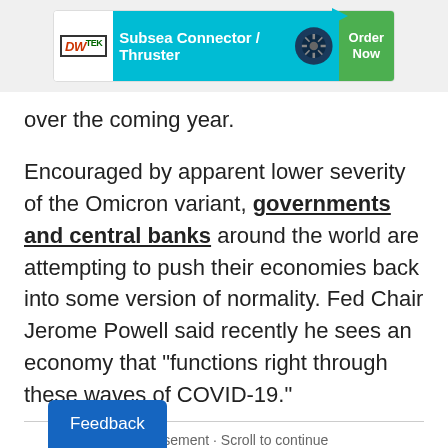[Figure (other): DWTEK advertisement banner: 'Subsea Connector / Thruster' with teal background, thruster icon, and green 'Order Now' button]
over the coming year.
Encouraged by apparent lower severity of the Omicron variant, governments and central banks around the world are attempting to push their economies back into some version of normality. Fed Chair Jerome Powell said recently he sees an economy that "functions right through these waves of COVID-19."
Advertisement · Scroll to continue
Feedback